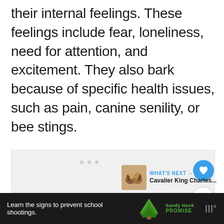their internal feelings. These feelings include fear, loneliness, need for attention, and excitement. They also bark because of specific health issues, such as pain, canine senility, or bee stings.
[Figure (other): Gray placeholder image area with UI overlay elements: heart button (blue circle), share button (white circle), dots navigation, and a 'What's Next' card showing Cavalier King Charles... with dog thumbnail]
[Figure (other): Advertisement bar at bottom: 'Learn the signs to prevent school shootings.' with Sandy Hook Promise logo (green tree) and a close button]